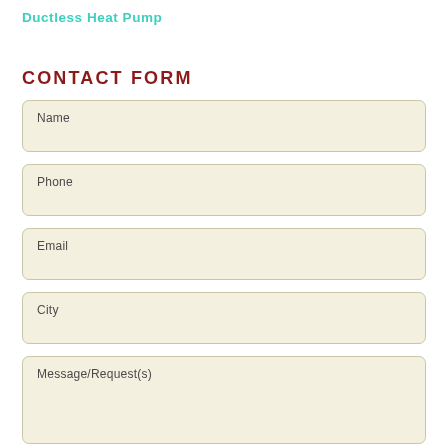Ductless Heat Pump
CONTACT FORM
Name
Phone
Email
City
Message/Request(s)